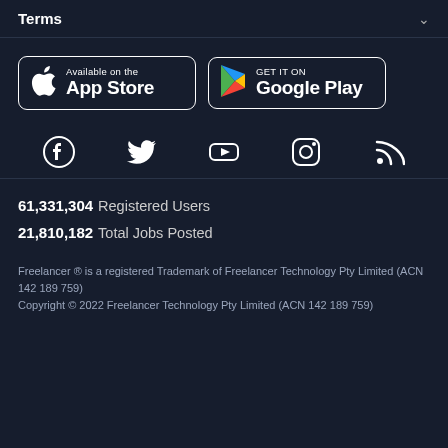Terms
[Figure (logo): App Store and Google Play download buttons]
[Figure (infographic): Social media icons: Facebook, Twitter, YouTube, Instagram, RSS]
61,331,304  Registered Users
21,810,182  Total Jobs Posted
Freelancer ® is a registered Trademark of Freelancer Technology Pty Limited (ACN 142 189 759)
Copyright © 2022 Freelancer Technology Pty Limited (ACN 142 189 759)